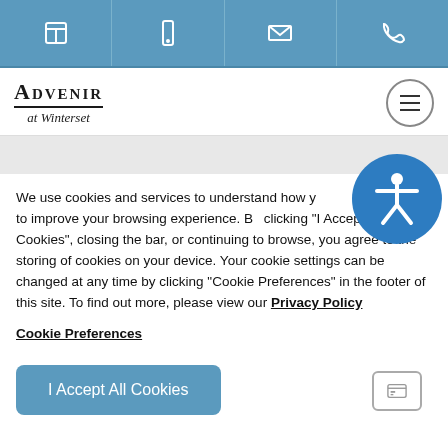Icon navigation bar with tablet, mobile, email, and phone icons
[Figure (logo): Advenir at Winterset logo with small-caps serif text and italic subtitle]
We use cookies and services to understand how you use our site and to improve your browsing experience. By clicking "I Accept All Cookies", closing the bar, or continuing to browse, you agree to the storing of cookies on your device. Your cookie settings can be changed at any time by clicking "Cookie Preferences" in the footer of this site. To find out more, please view our Privacy Policy
Cookie Preferences
I Accept All Cookies